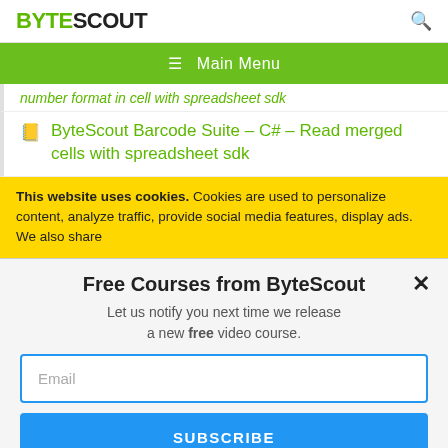BYTESCOUT
≡  Main Menu
number format in cell with spreadsheet sdk
ByteScout Barcode Suite – C# – Read merged cells with spreadsheet sdk
This website uses cookies. Cookies are used to personalize content, analyze traffic, provide social media features, display ads. We also share
Free Courses from ByteScout
Let us notify you next time we release a new free video course.
Email
SUBSCRIBE